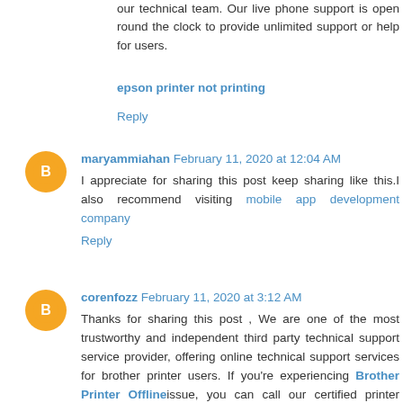our technical team. Our live phone support is open round the clock to provide unlimited support or help for users.
epson printer not printing
Reply
maryammiahan February 11, 2020 at 12:04 AM
I appreciate for sharing this post keep sharing like this.I also recommend visiting mobile app development company
Reply
corenfozz February 11, 2020 at 3:12 AM
Thanks for sharing this post , We are one of the most trustworthy and independent third party technical support service provider, offering online technical support services for brother printer users. If you're experiencing Brother Printer Offline issue, you can call our certified printer experts immediately. Our printer technicians are available online to help you remotely.